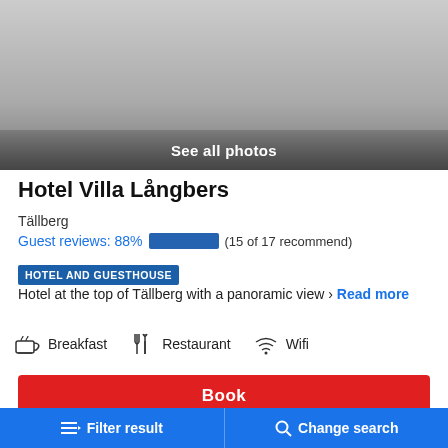[Figure (photo): Hotel photo area with gradient overlay showing 'See all photos' text]
Hotel Villa Långbers
Tällberg
Guest reviews: 88% (15 of 17 recommend)
HOTEL AND GUESTHOUSE Hotel at the top of Tällberg with a panoramic view › Read more
Breakfast   Restaurant   Wifi
Book
Filter result   Change search